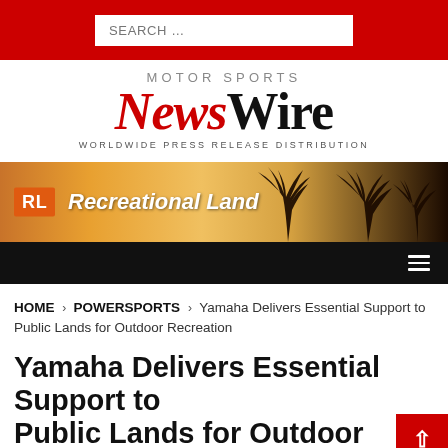SEARCH …
[Figure (logo): Motor Sports NewsWire — Worldwide Press Release Distribution logo. 'News' in red italic serif, 'Wire' in black serif, 'MOTOR SPORTS' above in gray spaced caps, 'WORLDWIDE PRESS RELEASE DISTRIBUTION' below in small gray spaced caps.]
[Figure (illustration): Recreational Land banner ad with orange-yellow tropical sunset background, palm tree silhouettes, orange RL logo box on left, white italic bold text 'Recreational Land'.]
[Figure (other): Black navigation bar with hamburger menu icon (three white lines) on the right.]
HOME > POWERSPORTS > Yamaha Delivers Essential Support to Public Lands for Outdoor Recreation
Yamaha Delivers Essential Support to Public Lands for Outdoor Recreation